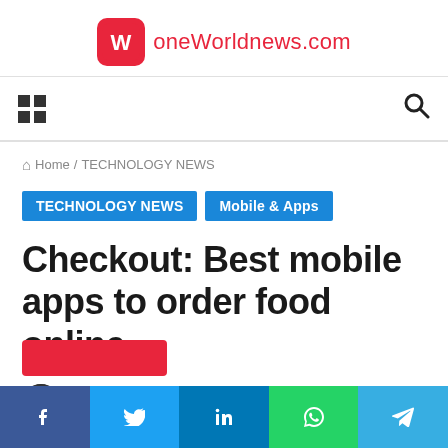oneWorldnews.com
Home / TECHNOLOGY NEWS
TECHNOLOGY NEWS   Mobile & Apps
Checkout: Best mobile apps to order food online
Aastha Singhal
Facebook Twitter LinkedIn WhatsApp Telegram